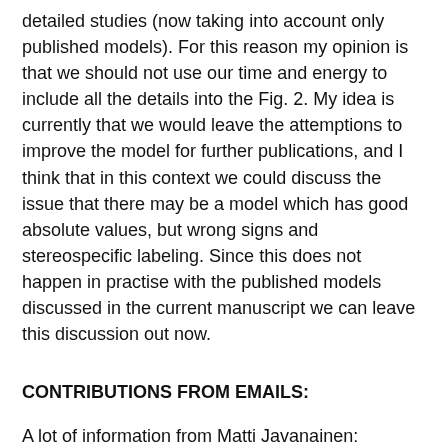detailed studies (now taking into account only published models). For this reason my opinion is that we should not use our time and energy to include all the details into the Fig. 2. My idea is currently that we would leave the attemptions to improve the model for further publications, and I think that in this context we could discuss the issue that there may be a model which has good absolute values, but wrong signs and stereospecific labeling. Since this does not happen in practise with the published models discussed in the current manuscript we can leave this discussion out now.
CONTRIBUTIONS FROM EMAILS:
A lot of information from Matti Javanainen: https://www.dropbox.com/s/3ru4rbba4a02vm8/commentsFROMmatti.pdf?dl=0
Andrea Catte send the simulation details from his simulations (these contained ions, thus they are not used in the current manusript but will be relevant for the manuscript about ion-lipid interactions):